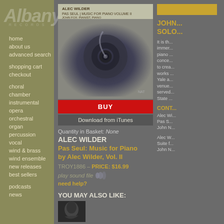[Figure (logo): Albany Records logo in muted text on olive sidebar]
home
about us
advanced search
shopping cart
checkout
choral
chamber
instrumental
opera
orchestral
organ
percussion
vocal
wind & brass
wind ensemble
new releases
best sellers
podcasts
news
[Figure (photo): Album cover art for Pas Seul: Music for Piano by Alec Wilder, Vol. II - swirling dark spiral image]
BUY
Download from iTunes
Quantity in Basket: None
ALEC WILDER
Pas Seul: Music for Piano by Alec Wilder, Vol. II
TROY1886 - PRICE: $16.99
play sound file
need help?
YOU MAY ALSO LIKE:
[Figure (photo): Thumbnail album cover showing a person's face in profile]
JOHN... SOLO...
It is th... immer... piano ... conce... to crea... works ... Yale a... venue... served... State ...
CONT...
Alec Wi... Pas S... John N... Alec W... Suite f... John N...